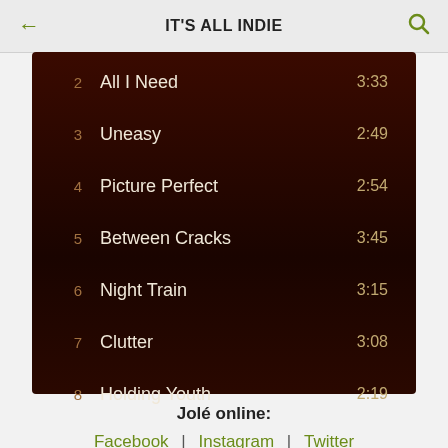IT'S ALL INDIE
[Figure (screenshot): Dark brown music tracklist panel showing tracks 2-8 with song names and durations]
Jolé online:
Facebook | Instagram | Twitter
[Figure (illustration): Email envelope icon in green/olive color]